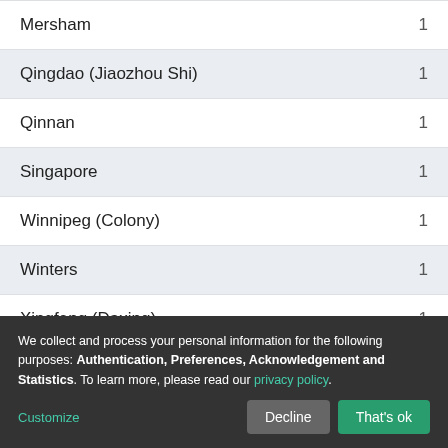| Location | Count |
| --- | --- |
| Mersham | 1 |
| Qingdao (Jiaozhou Shi) | 1 |
| Qinnan | 1 |
| Singapore | 1 |
| Winnipeg (Colony) | 1 |
| Winters | 1 |
| Xingfeng (Daxing) | 1 |
We collect and process your personal information for the following purposes: Authentication, Preferences, Acknowledgement and Statistics. To learn more, please read our privacy policy.